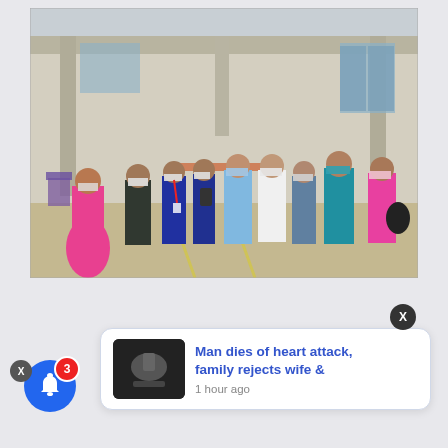[Figure (photo): Group of people wearing face masks standing outdoors in front of a building. Includes a woman in pink salwar kameez, a man in dark jacket, two young men, a woman in blue kurta, a woman in white coat (medical/doctor), a woman in plaid shirt, a woman in teal/blue saree, and a woman in pink saree with a bag. They appear to be at a health or community event.]
[Figure (screenshot): Mobile notification popup showing a news headline 'Man dies of heart attack, family rejects wife &' with timestamp '1 hour ago' and a small black-and-white thumbnail image. There is an X close button on top right. Bottom left shows a blue bell notification icon with a red badge showing '3' and an X close button beside it.]